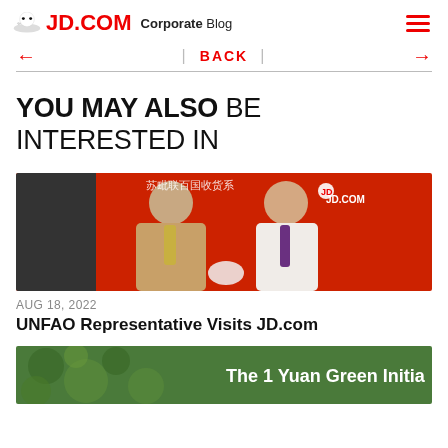JD.COM Corporate Blog
← BACK →
YOU MAY ALSO BE INTERESTED IN
[Figure (photo): Two men standing in front of a red JD.com branded backdrop. One man in a beige suit and yellow tie, the other in a white shirt with a purple tie. Chinese text and JD.com logo visible on the backdrop.]
AUG 18, 2022
UNFAO Representative Visits JD.com
[Figure (photo): Green foliage/plants image with white text overlay reading 'The 1 Yuan Green Initia' (truncated)]